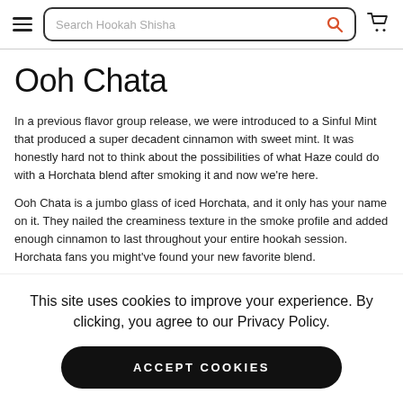[Figure (other): Navigation bar with hamburger menu icon, search box labeled 'Search Hookah Shisha' with orange search icon, and cart icon]
Ooh Chata
In a previous flavor group release, we were introduced to a Sinful Mint that produced a super decadent cinnamon with sweet mint. It was honestly hard not to think about the possibilities of what Haze could do with a Horchata blend after smoking it and now we're here.
Ooh Chata is a jumbo glass of iced Horchata, and it only has your name on it. They nailed the creaminess texture in the smoke profile and added enough cinnamon to last throughout your entire hookah session. Horchata fans you might've found your new favorite blend.
This site uses cookies to improve your experience. By clicking, you agree to our Privacy Policy.
ACCEPT COOKIES